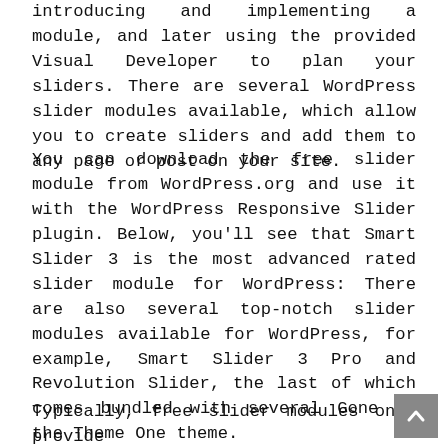introducing and implementing a module, and later using the provided Visual Developer to plan your sliders. There are several WordPress slider modules available, which allow you to create sliders and add them to any page or post on your site.
You can download the free slider module from WordPress.org and use it with the WordPress Responsive Slider plugin. Below, you'll see that Smart Slider 3 is the most advanced rated slider module for WordPress: There are also several top-notch slider modules available for WordPress, for example, Smart Slider 3 Pro and Revolution Slider, the last of which comes bundled with several Gone is the Theme One theme.
Typically, free slider modules only provide